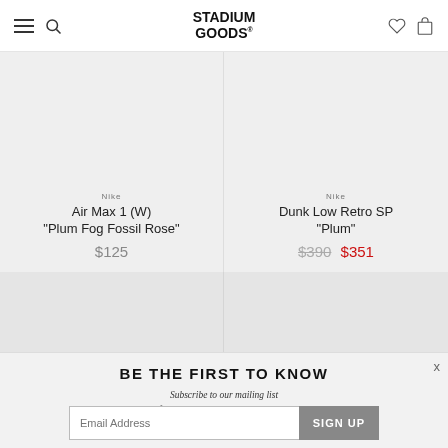Stadium Goods header navigation
Nike
Air Max 1 (W)
"Plum Fog Fossil Rose"
$125
Nike
Dunk Low Retro SP
"Plum"
$390 $351
BE THE FIRST TO KNOW
Subscribe to our mailing list for updates on new arrivals, sales, special events, and much more.
Email Address  SIGN UP